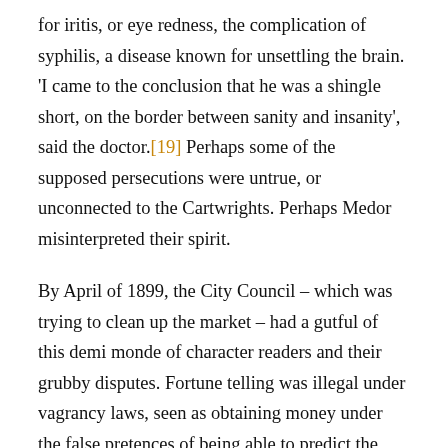for iritis, or eye redness, the complication of syphilis, a disease known for unsettling the brain. 'I came to the conclusion that he was a shingle short, on the border between sanity and insanity', said the doctor.[19] Perhaps some of the supposed persecutions were untrue, or unconnected to the Cartwrights. Perhaps Medor misinterpreted their spirit.
By April of 1899, the City Council – which was trying to clean up the market – had a gutful of this demi monde of character readers and their grubby disputes. Fortune telling was illegal under vagrancy laws, seen as obtaining money under the false pretences of being able to predict the future. [20] The town clerk issued a notice to be